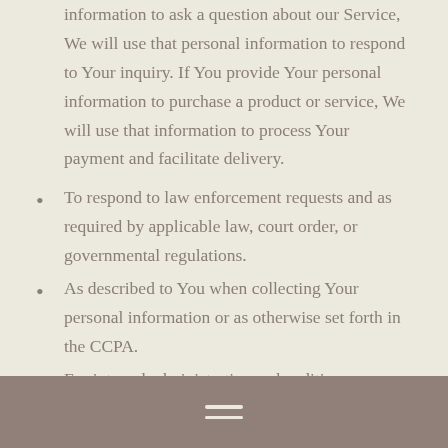information to ask a question about our Service, We will use that personal information to respond to Your inquiry. If You provide Your personal information to purchase a product or service, We will use that information to process Your payment and facilitate delivery.
To respond to law enforcement requests and as required by applicable law, court order, or governmental regulations.
As described to You when collecting Your personal information or as otherwise set forth in the CCPA.
For internal administrative and auditing purposes.
To detect security incidents and protect against malicious, deceptive, fraudulent or illegal activity, including, when necessary, to prosecute those
≡